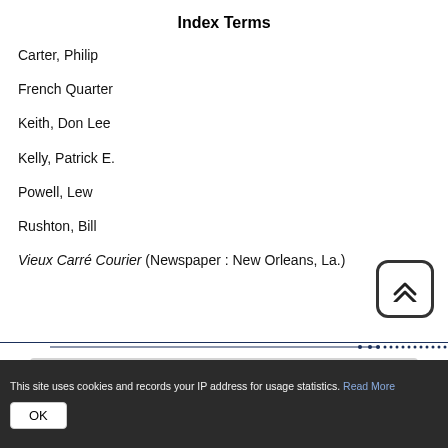Index Terms
Carter, Philip
French Quarter
Keith, Don Lee
Kelly, Patrick E.
Powell, Lew
Rushton, Bill
Vieux Carré Courier (Newspaper : New Orleans, La.)
About the title
This site uses cookies and records your IP address for usage statistics. Read More OK